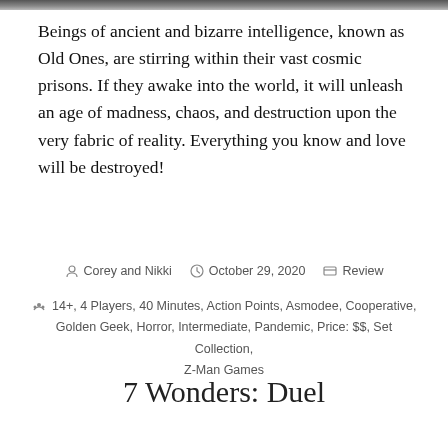[Figure (photo): Top cropped image strip, appears to be a board game photo]
Beings of ancient and bizarre intelligence, known as Old Ones, are stirring within their vast cosmic prisons. If they awake into the world, it will unleash an age of madness, chaos, and destruction upon the very fabric of reality. Everything you know and love will be destroyed!
Corey and Nikki  October 29, 2020  Review
14+, 4 Players, 40 Minutes, Action Points, Asmodee, Cooperative, Golden Geek, Horror, Intermediate, Pandemic, Price: $$, Set Collection, Z-Man Games
7 Wonders: Duel
[Figure (photo): Bottom partial photo of board game, warm golden/amber tones]